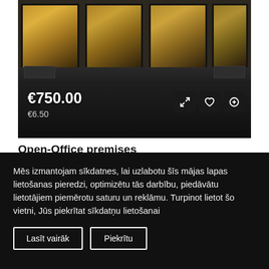[Figure (photo): Interior photo of open-plan office space with dark hardwood floors, large industrial windows showing autumn trees, and dark ceiling/walls.]
€750.00
€6.50
Open-Office premises
29, Braslas Street, Purvciems, Riga, Vidzeme, LV1084, Latvia
115 m2
COMMERCIAL PREMISES, OFFICE, PREMISES FOR EVENTS
Mēs izmantojam sīkdatnes, lai uzlabotu šīs mājas lapas lietošanas pieredzi, optimizētu tās darbību, piedāvātu lietotājiem piemērotu saturu un reklāmu. Turpinot lietot šo vietni, Jūs piekrītat sīkdatņu lietošanai
Lasīt vairāk
Piekrītu